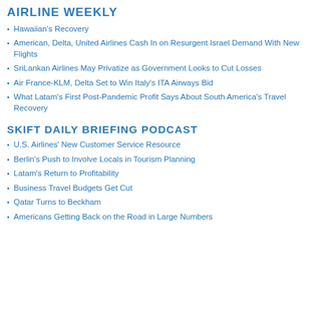AIRLINE WEEKLY
Hawaiian's Recovery
American, Delta, United Airlines Cash In on Resurgent Israel Demand With New Flights
SriLankan Airlines May Privatize as Government Looks to Cut Losses
Air France-KLM, Delta Set to Win Italy's ITA Airways Bid
What Latam's First Post-Pandemic Profit Says About South America's Travel Recovery
SKIFT DAILY BRIEFING PODCAST
U.S. Airlines' New Customer Service Resource
Berlin's Push to Involve Locals in Tourism Planning
Latam's Return to Profitability
Business Travel Budgets Get Cut
Qatar Turns to Beckham
Americans Getting Back on the Road in Large Numbers